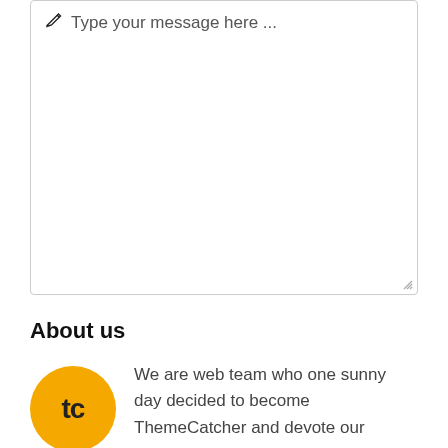[Figure (screenshot): A text area input field with placeholder text showing a pencil icon followed by 'Type your message here ...' and a resize handle at the bottom right corner.]
About us
We are web team who one sunny day decided to become ThemeCatcher and devote our